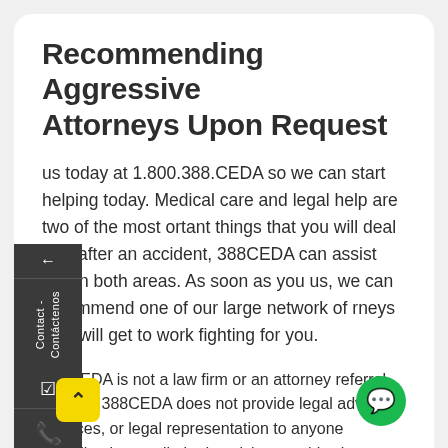Recommending Aggressive Attorneys Upon Request
us today at 1.800.388.CEDA so we can start helping today. Medical care and legal help are two of the most important things that you will deal with after an accident, 388CEDA can assist you in both areas. As soon as you us, we can recommend one of our large network of attorneys who will get to work fighting for you.
388CEDA is not a law firm or an attorney referral service. 388CEDA does not provide legal advice, services, or legal representation to anyone including but not limited to visitors to this site or individuals/persons responding to our advertisements. In Florida, 388CEDA provides the following types of physician services: M.D., Orthopedic Surgeons, Anesthesiologists, General Practitioners, Nurse Practitioners, & D.C.